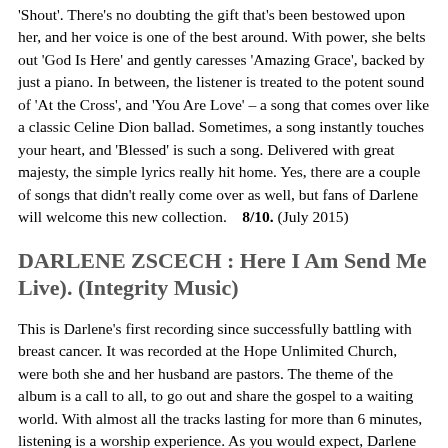'Shout'. There's no doubting the gift that's been bestowed upon her, and her voice is one of the best around. With power, she belts out 'God Is Here' and gently caresses 'Amazing Grace', backed by just a piano. In between, the listener is treated to the potent sound of 'At the Cross', and 'You Are Love' – a song that comes over like a classic Celine Dion ballad. Sometimes, a song instantly touches your heart, and 'Blessed' is such a song. Delivered with great majesty, the simple lyrics really hit home. Yes, there are a couple of songs that didn't really come over as well, but fans of Darlene will welcome this new collection.   8/10. (July 2015)
DARLENE ZSCECH : Here I Am Send Me Live). (Integrity Music)
This is Darlene's first recording since successfully battling with breast cancer. It was recorded at the Hope Unlimited Church, were both she and her husband are pastors. The theme of the album is a call to all, to go out and share the gospel to a waiting world. With almost all the tracks lasting for more than 6 minutes, listening is a worship experience. As you would expect, Darlene has gathered well known songwriters like Martin Smith and Paul Baloche to co-write songs, as well as members of her own church. The result is a typical Darlene Zschech album, full of big production numbers and